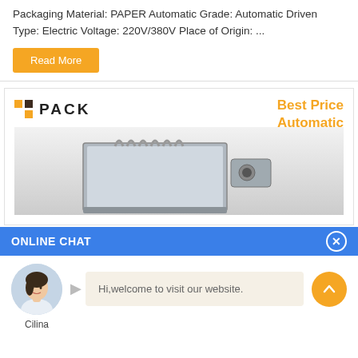Packaging Material: PAPER Automatic Grade: Automatic Driven Type: Electric Voltage: 220V/380V Place of Origin: ...
Read More
[Figure (logo): NNPACK logo with orange and dark brown squares grid icon followed by PACK text in bold letters]
Best Price Automatic
[Figure (photo): Industrial automatic packaging machine with tubes and cables on a grey gradient background]
ONLINE CHAT
[Figure (photo): Avatar photo of a woman named Cilina in a white blouse]
Hi,welcome to visit our website.
Cilina